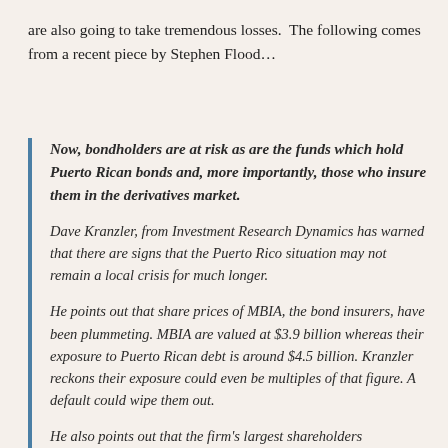are also going to take tremendous losses.  The following comes from a recent piece by Stephen Flood…
Now, bondholders are at risk as are the funds which hold Puerto Rican bonds and, more importantly, those who insure them in the derivatives market.
Dave Kranzler, from Investment Research Dynamics has warned that there are signs that the Puerto Rico situation may not remain a local crisis for much longer.
He points out that share prices of MBIA, the bond insurers, have been plummeting. MBIA are valued at $3.9 billion whereas their exposure to Puerto Rican debt is around $4.5 billion. Kranzler reckons their exposure could even be multiples of that figure. A default could wipe them out.
He also points out that the firm's largest shareholders